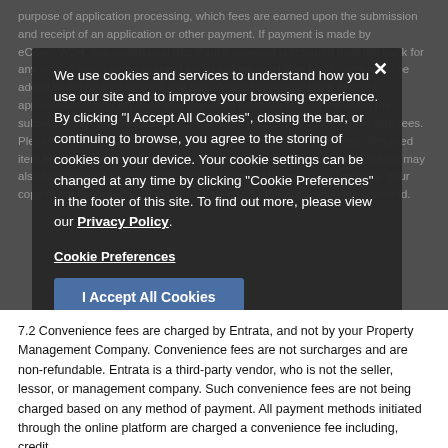purpose of application processing, which fees are earned upon the submission and receipt of an application or other payment. If payment is made by eCheck/ACH, you understand that if such payment is returned from the bank for any reason you may be charged additional returned item fee(s), which will be added to the original amount and auto-debited from your bank account approximately ten (10) days after the initial payment fails. In the event that subsequent auto-debits also fail, the amount you may continue to run your fees. Please be aware that you assume all responsibility for all such fees. Returned item fees vary; please contact your leasing office for details. Additional fees may also be assessed by your bank and/or Property Management Company. Your copy of the application will serve as a receipt for the application fee collected.
We use cookies and services to understand how you use our site and to improve your browsing experience. By clicking "I Accept All Cookies", closing the bar, or continuing to browse, you agree to the storing of cookies on your device. Your cookie settings can be changed at any time by clicking "Cookie Preferences" in the footer of this site. To find out more, please view our Privacy Policy.
Cookie Preferences
I Accept All Cookies
7.2 Convenience fees are charged by Entrata, and not by your Property Management Company. Convenience fees are not surcharges and are non-refundable. Entrata is a third-party vendor, who is not the seller, lessor, or management company. Such convenience fees are not being charged based on any method of payment. All payment methods initiated through the online platform are charged a convenience fee including, credit